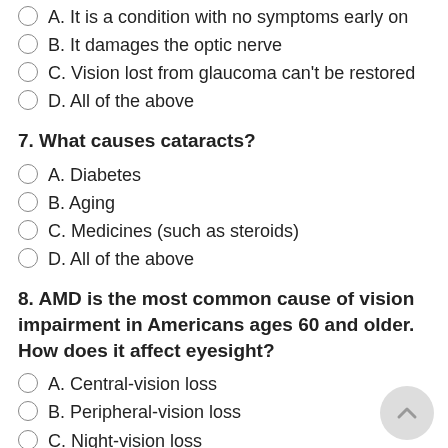A. It is a condition with no symptoms early on
B. It damages the optic nerve
C. Vision lost from glaucoma can't be restored
D. All of the above
7. What causes cataracts?
A. Diabetes
B. Aging
C. Medicines (such as steroids)
D. All of the above
8. AMD is the most common cause of vision impairment in Americans ages 60 and older. How does it affect eyesight?
A. Central-vision loss
B. Peripheral-vision loss
C. Night-vision loss